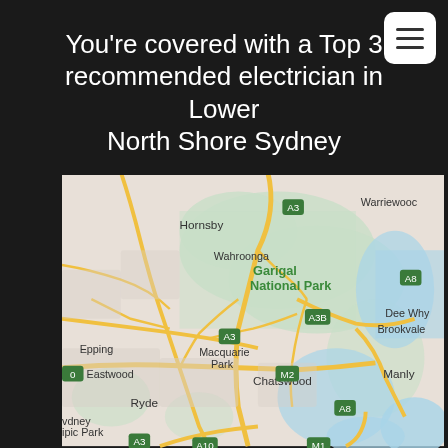You're covered with a Top 3 recommended electrician in Lower North Shore Sydney
[Figure (map): Google Maps view of Lower North Shore Sydney area, showing suburbs including Hornsby, Wahroonga, Garigal National Park, Dee Why, Brookvale, Warringwood, Epping, Macquarie Park, Eastwood, Chatswood, Manly, Ryde, and roads/highways marked A3, A8, A3B, M2, A10, M1.]